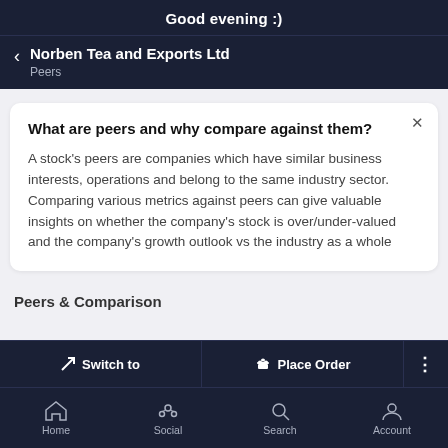Good evening :)
Norben Tea and Exports Ltd
Peers
What are peers and why compare against them?
A stock's peers are companies which have similar business interests, operations and belong to the same industry sector. Comparing various metrics against peers can give valuable insights on whether the company's stock is over/under-valued and the company's growth outlook vs the industry as a whole
Peers & Comparison
Switch to   Place Order
Home   Social   Search   Account